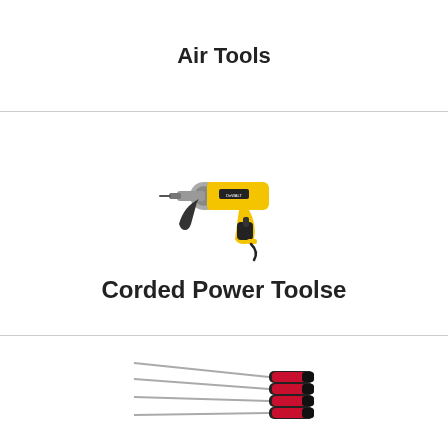Air Tools
[Figure (illustration): Yellow and black corded power drill (DeWalt style) with side handle attached]
Corded Power Toolse
[Figure (illustration): Set of four screwdrivers with red and black handles arranged in a fan pattern]